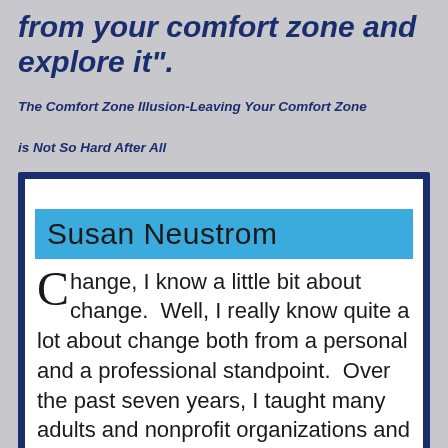from your comfort zone and explore it".
The Comfort Zone Illusion-Leaving Your Comfort Zone is Not So Hard After All
Susan Neustrom
Change, I know a little bit about change.  Well, I really know quite a lot about change both from a personal and a professional standpoint.  Over the past seven years, I taught many adults and nonprofit organizations and small business how to experience change from a new perspective by using a